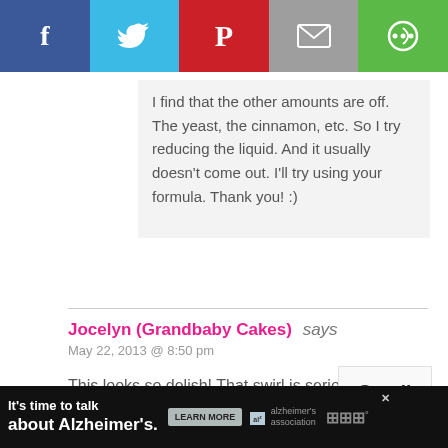[Figure (other): Social share bar with Facebook, Twitter, Pinterest, Email, and another share button icons]
I find that the other amounts are off. The yeast, the cinnamon, etc. So I try reducing the liquid. And it usually doesn't come out. I'll try using your formula. Thank you! :)
Jocelyn (Grandbaby Cakes) says
May 22, 2013 @ 8:50 pm
This looks so delish! That swirl is seriously calling my name!
[Figure (other): Scroll to top button overlay]
[Figure (other): Advertisement banner: It's time to talk about Alzheimer's. LEARN MORE. Alzheimer's association logo.]